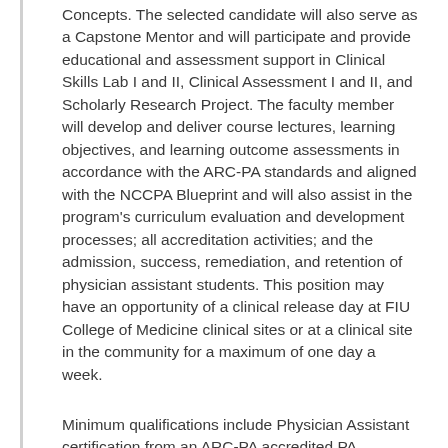Concepts. The selected candidate will also serve as a Capstone Mentor and will participate and provide educational and assessment support in Clinical Skills Lab I and II, Clinical Assessment I and II, and Scholarly Research Project. The faculty member will develop and deliver course lectures, learning objectives, and learning outcome assessments in accordance with the ARC-PA standards and aligned with the NCCPA Blueprint and will also assist in the program's curriculum evaluation and development processes; all accreditation activities; and the admission, success, remediation, and retention of physician assistant students. This position may have an opportunity of a clinical release day at FIU College of Medicine clinical sites or at a clinical site in the community for a maximum of one day a week.
Minimum qualifications include Physician Assistant certification from an ARC-PA accredited PA program, current NCCPA certification, active Florida PA license or medical license (or be eligible to obtain a Florida Physician Assistant license or medical license at the time of hire), strong communication